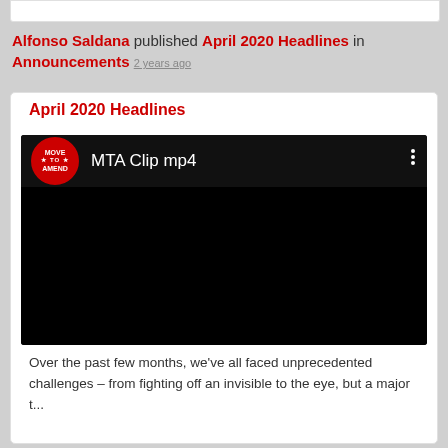Alfonso Saldana published April 2020 Headlines in Announcements 2 years ago
April 2020 Headlines
[Figure (screenshot): Video player showing 'MTA Clip mp4' with Move to Amend logo on black background]
Over the past few months, we've all faced unprecedented challenges – from fighting off an invisible to the eye, but a major t...